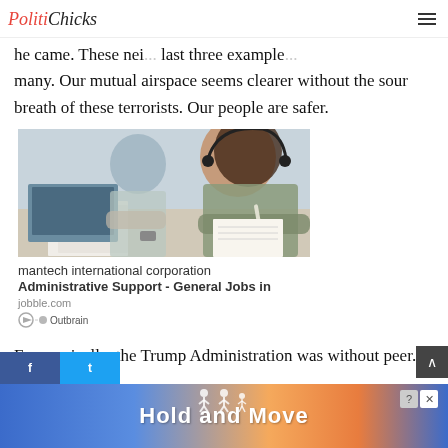PolitiChicks
he came. These nei... last three example... many. Our mutual airspace seems clearer without the sour breath of these terrorists. Our people are safer.
[Figure (photo): Two women working at a desk with papers and a laptop, an office environment. Sponsored advertisement image.]
mantech international corporation Administrative Support - General Jobs in jobble.com | Outbrain
Economically, the Trump Administration was without peer. The lowest u...